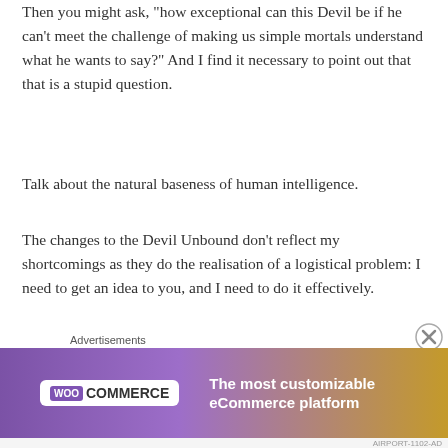Then you might ask, "how exceptional can this Devil be if he can't meet the challenge of making us simple mortals understand what he wants to say?" And I find it necessary to point out that that is a stupid question.
Talk about the natural baseness of human intelligence.
The changes to the Devil Unbound don’t reflect my shortcomings as they do the realisation of a logistical problem: I need to get an idea to you, and I need to do it effectively.
Extended essays are fun to write but likely tricky and tedious to read for the vast majority of the internet-dwelling imps I want to reach. You know, those who are
[Figure (other): WooCommerce advertisement banner: purple gradient background with WooCommerce logo on white pill and tagline 'The most customizable eCommerce platform']